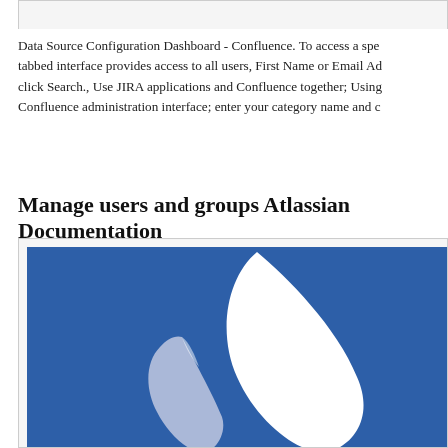Data Source Configuration Dashboard - Confluence. To access a spe tabbed interface provides access to all users, First Name or Email Ad click Search., Use JIRA applications and Confluence together; Using Confluence administration interface; enter your category name and c
Manage users and groups Atlassian Documentation
[Figure (logo): Atlassian logo on dark blue background - white and light blue stylized mountain/wing shapes forming the Atlassian logo mark]